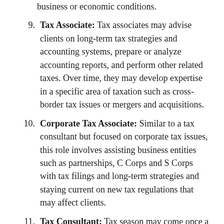business or economic conditions.
9. Tax Associate: Tax associates may advise clients on long-term tax strategies and accounting systems, prepare or analyze accounting reports, and perform other related taxes. Over time, they may develop expertise in a specific area of taxation such as cross-border tax issues or mergers and acquisitions.
10. Corporate Tax Associate: Similar to a tax consultant but focused on corporate tax issues, this role involves assisting business entities such as partnerships, C Corps and S Corps with tax filings and long-term strategies and staying current on new tax regulations that may affect clients.
11. Tax Consultant: Tax season may come once a year but individuals and businesses need advice on tax planning year-round, so tax consultants may it providing a great start to boost at the